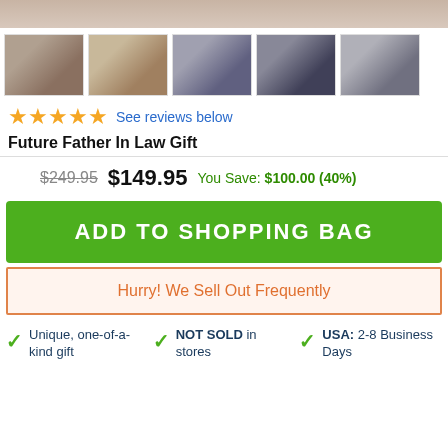[Figure (photo): Top portion of a watch product image, cropped at top]
[Figure (photo): Row of 5 product thumbnail images showing a skeleton watch in box, on wrist, and close-up views]
★★★★★ See reviews below
Future Father In Law Gift
$249.95  $149.95  You Save: $100.00 (40%)
ADD TO SHOPPING BAG
Hurry! We Sell Out Frequently
✓ Unique, one-of-a-kind gift
✓ NOT SOLD in stores
✓ USA: 2-8 Business Days